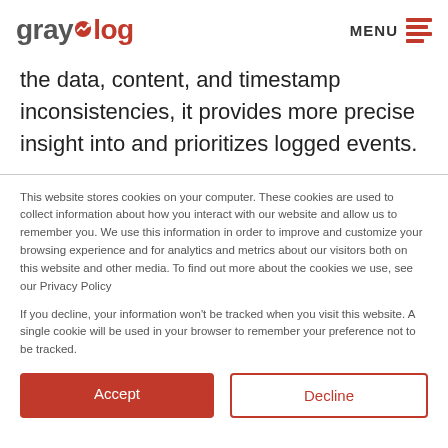graylog | MENU
the data, content, and timestamp inconsistencies, it provides more precise insight into and prioritizes logged events.
This website stores cookies on your computer. These cookies are used to collect information about how you interact with our website and allow us to remember you. We use this information in order to improve and customize your browsing experience and for analytics and metrics about our visitors both on this website and other media. To find out more about the cookies we use, see our Privacy Policy
If you decline, your information won’t be tracked when you visit this website. A single cookie will be used in your browser to remember your preference not to be tracked.
Accept | Decline